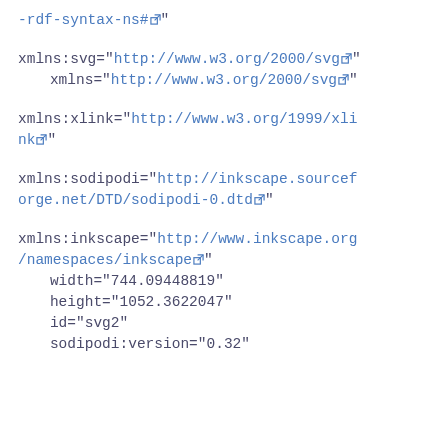-rdf-syntax-ns#"
xmlns:svg="http://www.w3.org/2000/svg" xmlns="http://www.w3.org/2000/svg"
xmlns:xlink="http://www.w3.org/1999/xlink"
xmlns:sodipodi="http://inkscape.sourceforge.net/DTD/sodipodi-0.dtd"
xmlns:inkscape="http://www.inkscape.org/namespaces/inkscape" width="744.09448819" height="1052.3622047" id="svg2" sodipodi:version="0.32"